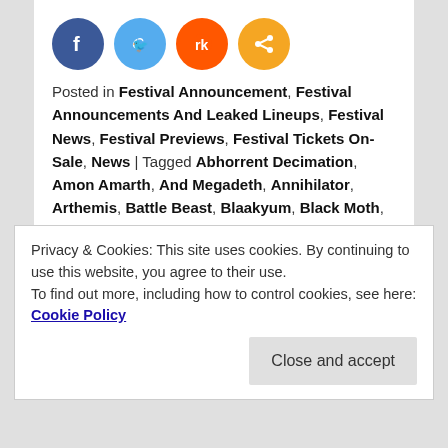[Figure (illustration): Four social media sharing icons: Facebook (dark blue), Twitter (light blue), Reddit (orange-red), Share (orange)]
Posted in Festival Announcement, Festival Announcements And Leaked Lineups, Festival News, Festival Previews, Festival Tickets On-Sale, News | Tagged Abhorrent Decimation, Amon Amarth, And Megadeth, Annihilator, Arthemis, Battle Beast, Blaakyum, Black Moth, Blind Guardian, Blind Haze, Blind River, Bossk, Broken Teeth, Brujeria, Chelsea Grin, Courtesans, Dakesis, Decapitated, Dendera, Devil's Playground, Devilment, Endeavour, Enslavement, GHOST, Ghost Cult Magazine, God's, Hatebreed, Heathen Deity, Hell, Inquisition, King 810, Kreator, Kroh, Lionize, Macabre, Mantar, Merithian, Mist, Municipal Waste, Nordievel, Obituary, Oni, Plus
Privacy & Cookies: This site uses cookies. By continuing to use this website, you agree to their use.
To find out more, including how to control cookies, see here: Cookie Policy
Close and accept